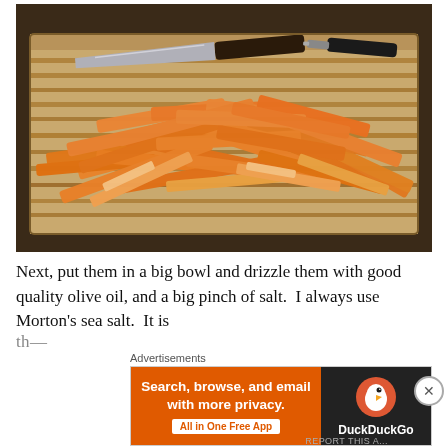[Figure (photo): Photo of sliced carrot sticks piled on a wooden cutting board with a large knife and a vegetable peeler visible in the background.]
Next, put them in a big bowl and drizzle them with good quality olive oil, and a big pinch of salt.  I always use Morton's sea salt.  It is th...
Advertisements
[Figure (screenshot): DuckDuckGo advertisement banner: orange left panel reading 'Search, browse, and email with more privacy. All in One Free App' and dark right panel with DuckDuckGo duck logo and text 'DuckDuckGo'.]